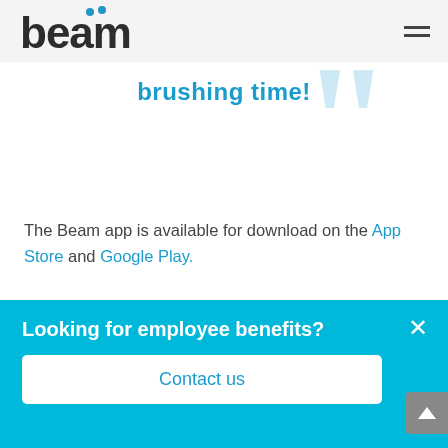[Figure (logo): Beam logo with two blue dots above the letter 'a' in 'beam', dark grey text on light grey header background]
brushing time!
[Figure (illustration): Large light blue decorative quotation marks in the upper right of the content area]
The Beam app is available for download on the App Store and Google Play.
What else can you do to have a healthy mouth?
Looking for employee benefits?
Contact us